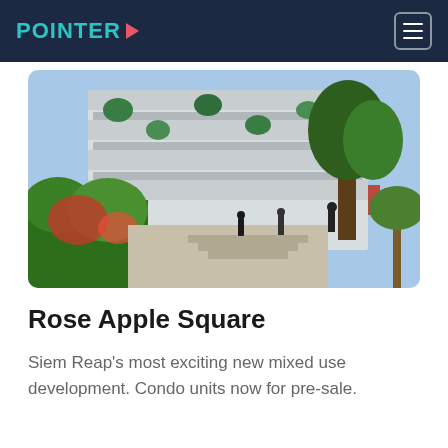POINTER
[Figure (photo): Exterior photo of Rose Apple Square mixed-use development in Siem Reap, showing a multi-storey building with green plants and landscaping in the foreground, people walking on a pedestrian path, blue sky visible above.]
Rose Apple Square
Siem Reap's most exciting new mixed use development. Condo units now for pre-sale.